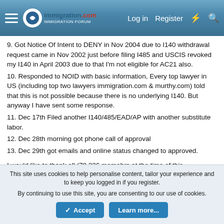immigration.com — Log in | Register
9. Got Notice Of Intent to DENY in Nov 2004 due to I140 withdrawal request came in Nov 2002 just before filing I485 and USCIS revoked my I140 in April 2003 due to that I'm not eligible for AC21 also.
10. Responded to NOID with basic information, Every top lawyer in US (including top two lawyers immigration.com & murthy.com) told that this is not possible because there is no underlying I140. But anyway I have sent some response.
11. Dec 17th Filed another I140/485/EAD/AP with another substitute labor.
12. Dec 28th morning got phone call of approval
13. Dec 29th got emails and online status changed to approved.

I would like to thank all (79,236 memebrs at the time of this
This site uses cookies to help personalise content, tailor your experience and to keep you logged in if you register.
By continuing to use this site, you are consenting to our use of cookies.
Accept | Learn more...